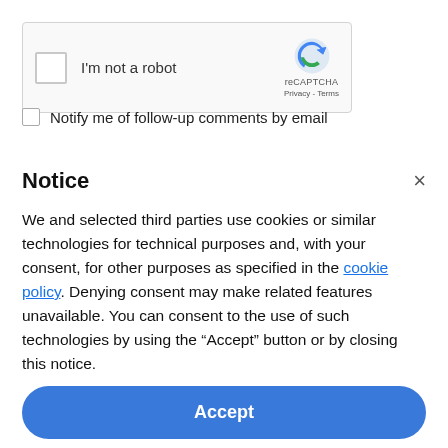[Figure (screenshot): reCAPTCHA widget with checkbox labeled 'I'm not a robot' and reCAPTCHA logo with Privacy and Terms links]
Notify me of follow-up comments by email
Notice
We and selected third parties use cookies or similar technologies for technical purposes and, with your consent, for other purposes as specified in the cookie policy. Denying consent may make related features unavailable. You can consent to the use of such technologies by using the “Accept” button or by closing this notice.
Accept
Learn more and customise